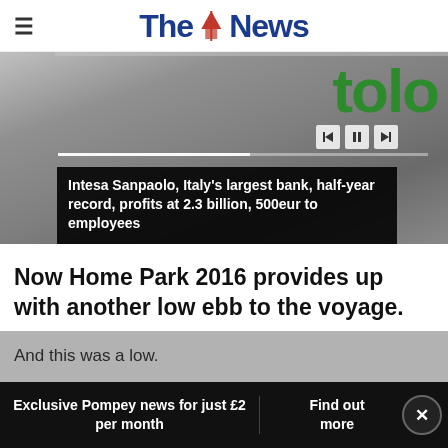The News
[Figure (photo): Bank signage with green letters, partially visible. Includes video playback controls and a progress bar overlay.]
Intesa Sanpaolo, Italy's largest bank, half-year record, profits at 2.3 billion, 500eur to employees
Now Home Park 2016 provides up with another low ebb to the voyage.
And this was a low.
Exclusive Pompey news for just £2 per month | Find out more